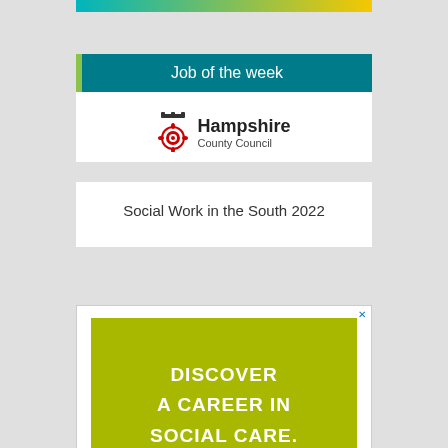[Figure (illustration): Top banner strip with teal and yellow gradient]
Job of the week
[Figure (logo): Hampshire County Council logo with crown and rosette icon]
Social Work in the South 2022
[Figure (infographic): Advertisement with olive/yellow-green background reading: DISCOVER A CAREER IN SOCIAL CARE.]